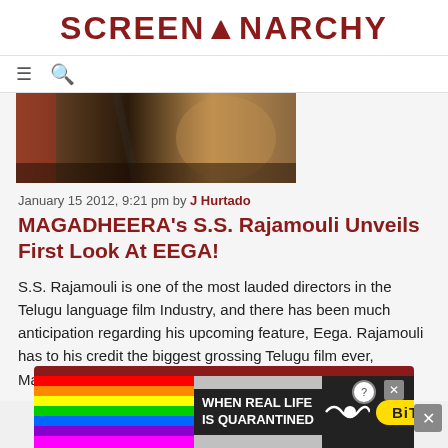SCREENANARCHY
[Figure (screenshot): Navigation bar with hamburger menu icon and search icon]
[Figure (photo): Partial article image showing dark warm-toned film still]
January 15 2012, 9:21 pm by J Hurtado
MAGADHEERA's S.S. Rajamouli Unveils First Look At EEGA!
S.S. Rajamouli is one of the most lauded directors in the Telugu language film Industry, and there has been much anticipation regarding his upcoming feature, Eega. Rajamouli has to his credit the biggest grossing Telugu film ever, Magadheera, which also…
[Figure (other): BitLife advertisement banner with rainbow colors and emoji]